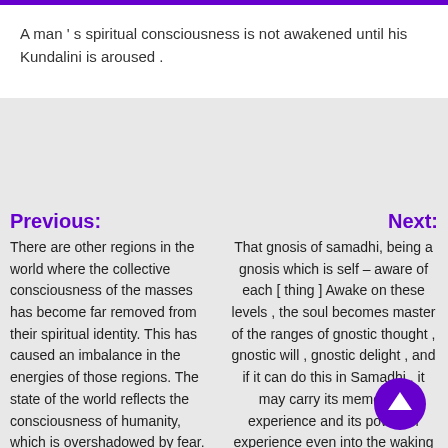A man ' s spiritual consciousness is not awakened until his Kundalini is aroused .
Previous:
Next:
There are other regions in the world where the collective consciousness of the masses has become far removed from their spiritual identity. This has caused an imbalance in the energies of those regions. The state of the world reflects the consciousness of humanity, which is overshadowed by fear. Fear stimulates false beliefs and wrath and takes us to war. Fear destroys hope and mutilates the heart and mind; it kills faith and
That gnosis of samadhi, being a gnosis which is self – aware of each [ thing ] Awake on these levels , the soul becomes master of the ranges of gnostic thought , gnostic will , gnostic delight , and if it can do this in Samadhi , it may carry its memory of experience and its power of experience even into the waking state. This is world union. Their higher f cy simply shifts the of force a degree upward within